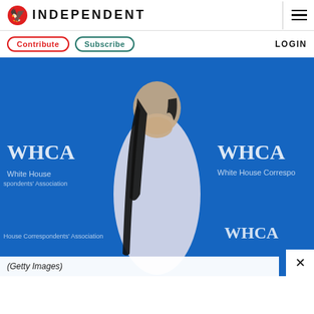INDEPENDENT
Contribute  Subscribe  LOGIN
[Figure (photo): Kim Kardashian in a silver sparkly sleeveless dress at the WHCA (White House Correspondents' Association) event, posing in front of a blue WHCA step-and-repeat backdrop with long dark wavy hair.]
(Getty Images)